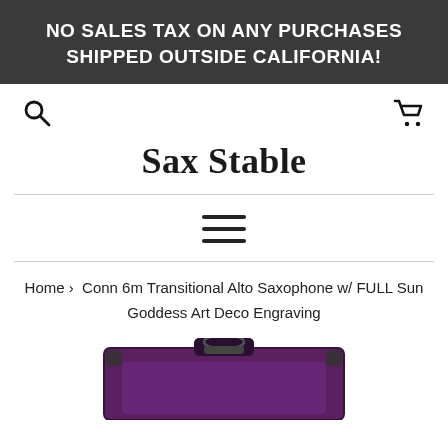NO SALES TAX ON ANY PURCHASES SHIPPED OUTSIDE CALIFORNIA!
[Figure (screenshot): Search icon (magnifying glass) on the left, shopping cart icon on the right — navigation bar icons]
Sax Stable
[Figure (other): Hamburger menu icon — three horizontal lines]
Home › Conn 6m Transitional Alto Saxophone w/ FULL Sun Goddess Art Deco Engraving
[Figure (photo): Bottom portion of a saxophone case, dark purple/violet color with decorative hardware visible at top]